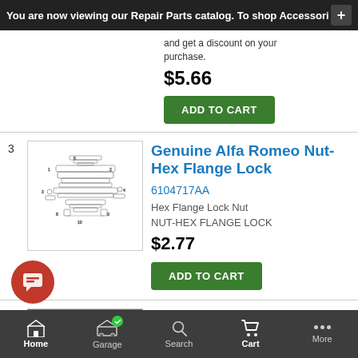You are now viewing our Repair Parts catalog. To shop Accessori
and get a discount on your purchase.
$5.66
ADD TO CART
[Figure (engineering-diagram): Technical exploded parts diagram for item 3]
Genuine Alfa Romeo Nut-Hex Flange Lock
6104717AA
Hex Flange Lock Nut
NUT-HEX FLANGE LOCK
$2.77
ADD TO CART
[Figure (photo): Photo of Clean Air Duct part, black ribbed duct]
Clean Air Duct
4861940AC
Home  Garage  Search  Cart  More